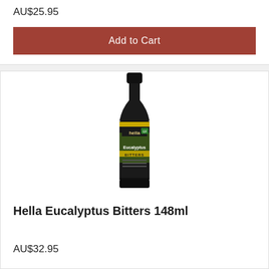AU$25.95
Add to Cart
[Figure (photo): Dark glass bottle of Hella Eucalyptus Bitters 148ml with black cap and dark label featuring gold-green eucalyptus leaf imagery and the Hella brand name]
Hella Eucalyptus Bitters 148ml
AU$32.95